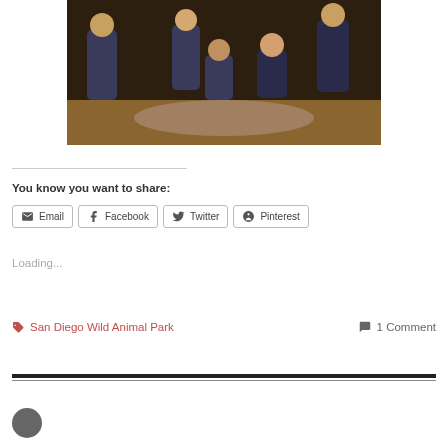[Figure (photo): Group photo of several people in navy blue jackets crouching and standing around a large animal (possibly a sedated large cat or similar) on a sandy ground at night or in dim light.]
You know you want to share:
Email
Facebook
Twitter
Pinterest
Loading...
San Diego Wild Animal Park
1 Comment